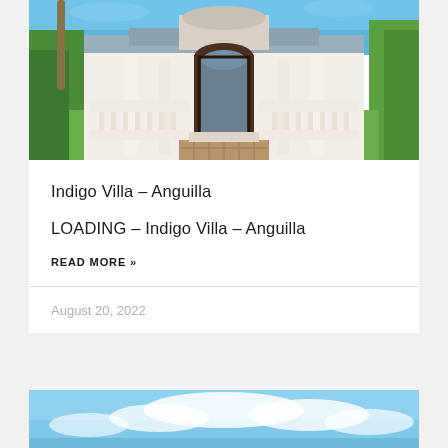[Figure (photo): Exterior photo of Indigo Villa in Anguilla showing elegant white colonial-style entrance with columns, arched doorway, balustraded terraces, brick pathway, palm trees and tropical greenery under blue sky]
Indigo Villa – Anguilla
LOADING – Indigo Villa – Anguilla
READ MORE »
August 20, 2022
[Figure (photo): Bottom portion of a second villa photo showing a bright blue sky with white clouds over a coastal scene]